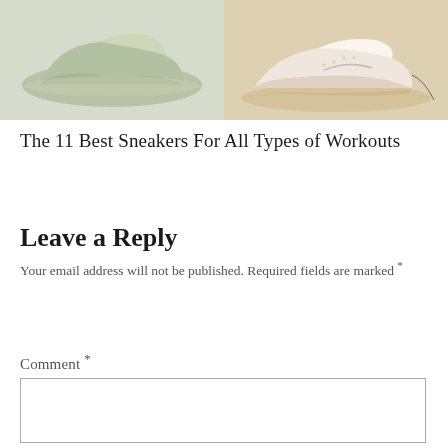[Figure (photo): Two sneakers side by side: left image shows olive/mint green sneakers on a light grey background; right image shows a pink/white Nike sneaker on a sandy beige background.]
The 11 Best Sneakers For All Types of Workouts
Leave a Reply
Your email address will not be published. Required fields are marked *
Comment *